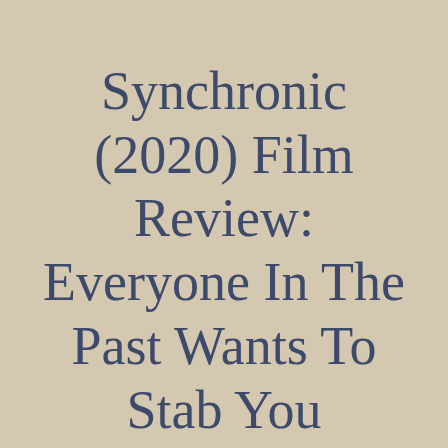Synchronic (2020) Film Review: Everyone In The Past Wants To Stab You